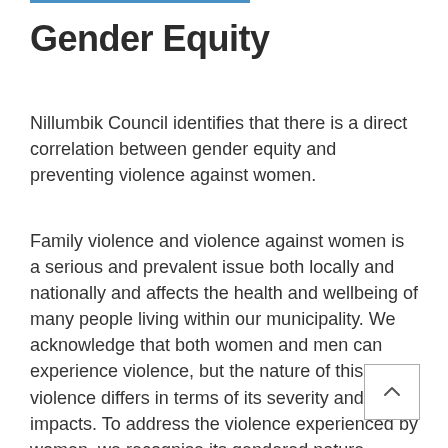Gender Equity
Nillumbik Council identifies that there is a direct correlation between gender equity and preventing violence against women.
Family violence and violence against women is a serious and prevalent issue both locally and nationally and affects the health and wellbeing of many people living within our municipality. We acknowledge that both women and men can experience violence, but the nature of this violence differs in terms of its severity and impacts. To address the violence experienced by women, we recognise its gendered nature